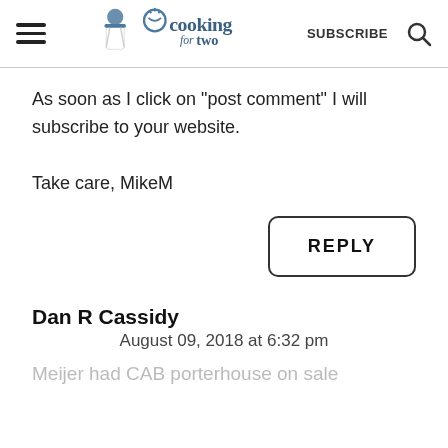cooking for two | SUBSCRIBE
As soon as I click on "post comment" I will subscribe to your website.

Take care, MikeM
REPLY
Dan R Cassidy
August 09, 2018 at 6:32 pm
Meijer had CAB porterhouse on sale